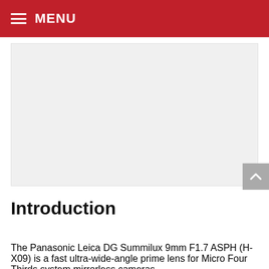MENU
[Figure (photo): Image placeholder area, light gray background, likely a product photo of the Panasonic Leica DG Summilux 9mm lens]
Introduction
The Panasonic Leica DG Summilux 9mm F1.7 ASPH (H-X09) is a fast ultra-wide-angle prime lens for Micro Four Thirds system mirrorless cameras.